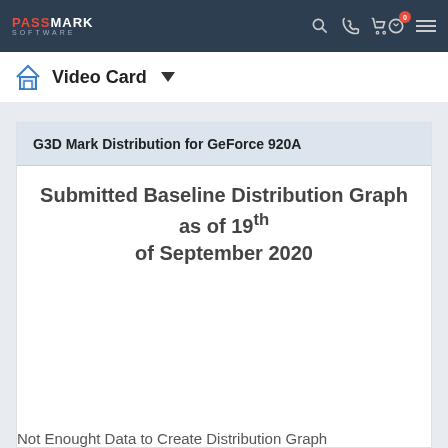PassMark Software
Video Card
G3D Mark Distribution for GeForce 920A
Submitted Baseline Distribution Graph as of 19th of September 2020
Not Enought Data to Create Distribution Graph